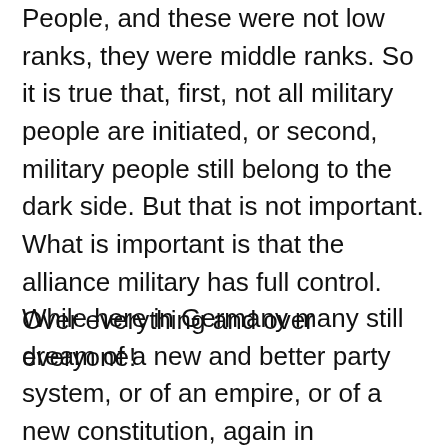People, and these were not low ranks, they were middle ranks. So it is true that, first, not all military people are initiated, or second, military people still belong to the dark side. But that is not important. What is important is that the alliance military has full control. Over everything and over everyone!
While here in Germany many still dream of a new and better party system, or of an empire, or of a new constitution, again in commercial law, of a victory of the Greens, the Social Democrats, the Christian Democrats in the upcoming